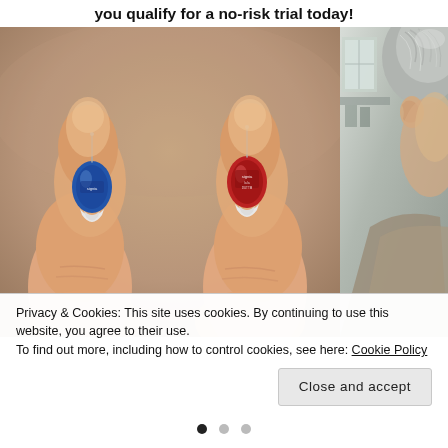you qualify for a no-risk trial today!
[Figure (photo): Two hands holding small Signia hearing aids — one blue and one red — with white ear pieces at the bottom. Each hearing aid has a small pin/antenna at the top and the Signia logo printed on the body. Close-up product shot with blurred background.]
[Figure (photo): Partial view of an elderly person with gray hair, cropped on the right side of the image. Indoor background visible.]
Privacy & Cookies: This site uses cookies. By continuing to use this website, you agree to their use.
To find out more, including how to control cookies, see here: Cookie Policy
Close and accept